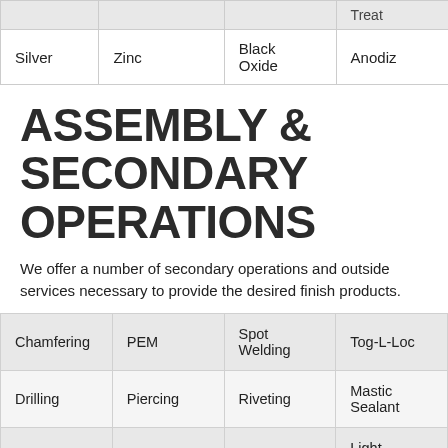|  |  |  | Treat |
| --- | --- | --- | --- |
| Silver | Zinc | Black Oxide | Anodiz |
ASSEMBLY & SECONDARY OPERATIONS
We offer a number of secondary operations and outside services necessary to provide the desired finish products.
| Chamfering | PEM | Spot Welding | Tog-L-Loc |
| Drilling | Piercing | Riveting | Mastic Sealant |
| Notching | Forming | Tapping | Light Assembly |